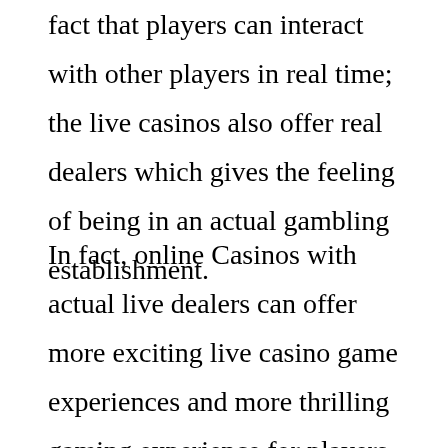fact that players can interact with other players in real time; the live casinos also offer real dealers which gives the feeling of being in an actual gambling establishment.
In fact, online Casinos with actual live dealers can offer more exciting live casino game experiences and more thrilling gaming experience for players. Players may actually feel the thrill and excitement of gambling with their real-time partners. For instance, in the live casino game of Blackjack, there